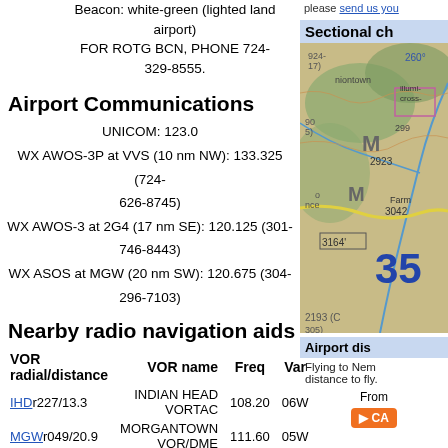Beacon: white-green (lighted land airport)
FOR ROTG BCN, PHONE 724-329-8555.
please send us you
Sectional ch
[Figure (map): Sectional chart map showing terrain around airport area with elevation numbers 2923, 3042, 3164, 2193, and number 35 visible]
Airport Communications
UNICOM: 123.0
WX AWOS-3P at VVS (10 nm NW): 133.325 (724-626-8745)
WX AWOS-3 at 2G4 (17 nm SE): 120.125 (301-746-8443)
WX ASOS at MGW (20 nm SW): 120.675 (304-296-7103)
Nearby radio navigation aids
| VOR radial/distance | VOR name | Freq | Var |
| --- | --- | --- | --- |
| IHDr227/13.3 | INDIAN HEAD VORTAC | 108.20 | 06W |
| MGWr049/20.9 | MORGANTOWN VOR/DME | 111.60 | 05W |
| AGCr150/36.2 | ALLEGHENY VOR/DME | 110.00 | 09W |
Airport dis
Flying to Nem distance to fly.
From
CA